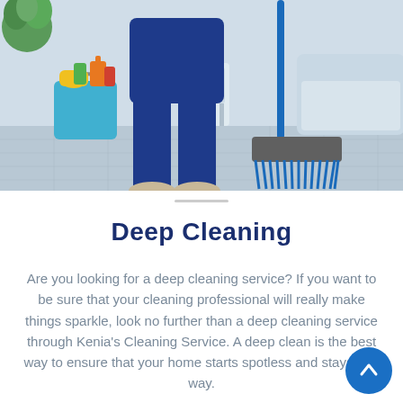[Figure (photo): A cleaning professional in blue uniform carrying a blue bucket with cleaning supplies and yellow rubber gloves, holding a blue broom/mop, standing on a tiled floor in a clean interior space.]
Deep Cleaning
Are you looking for a deep cleaning service? If you want to be sure that your cleaning professional will really make things sparkle, look no further than a deep cleaning service through Kenia's Cleaning Service. A deep clean is the best way to ensure that your home starts spotless and stays that way.